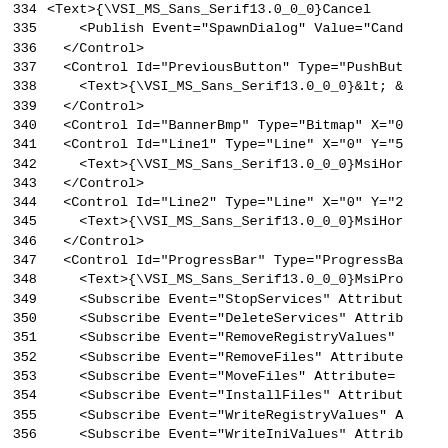334   <Text>{\VSI_MS_Sans_Serif13.0_0_0}Cancel...
335     <Publish Event="SpawnDialog" Value="Canc...
336   </Control>
337   <Control Id="PreviousButton" Type="PushBut...
338     <Text>{\VSI_MS_Sans_Serif13.0_0_0}&lt; &...
339   </Control>
340   <Control Id="BannerBmp" Type="Bitmap" X="0...
341   <Control Id="Line1" Type="Line" X="0" Y="5...
342     <Text>{\VSI_MS_Sans_Serif13.0_0_0}MsiHor...
343   </Control>
344   <Control Id="Line2" Type="Line" X="0" Y="2...
345     <Text>{\VSI_MS_Sans_Serif13.0_0_0}MsiHor...
346   </Control>
347   <Control Id="ProgressBar" Type="ProgressBa...
348     <Text>{\VSI_MS_Sans_Serif13.0_0_0}MsiPro...
349     <Subscribe Event="StopServices" Attribut...
350     <Subscribe Event="DeleteServices" Attrib...
351     <Subscribe Event="RemoveRegistryValues"...
352     <Subscribe Event="RemoveFiles" Attribute...
353     <Subscribe Event="MoveFiles" Attribute=...
354     <Subscribe Event="InstallFiles" Attribut...
355     <Subscribe Event="WriteRegistryValues" A...
356     <Subscribe Event="WriteIniValues" Attrib...
357     <Subscribe Event="StartServices" Attribu...
358     <Subscribe Event="InstallAdminPackage" A...
359     <Subscribe Event="UnmoveFiles" Attribute...
360     <Subscribe Event="SetProgress" Attribute...